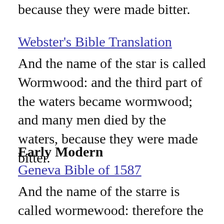because they were made bitter.
Webster's Bible Translation
And the name of the star is called Wormwood: and the third part of the waters became wormwood; and many men died by the waters, because they were made bitter.
Early Modern
Geneva Bible of 1587
And the name of the starre is called wormewood: therefore the thirde part of the waters became wormewood, and many men died of the waters, because they were made